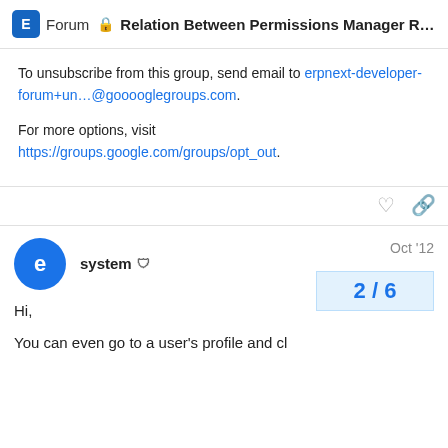E Forum 🔒 Relation Between Permissions Manager Rol...
To unsubscribe from this group, send email to erpnext-developer-forum+un...@gooooglegroups.com.

For more options, visit https://groups.google.com/groups/opt_out.
system 🛡 Oct '12
Hi,
You can even go to a user's profile and cl